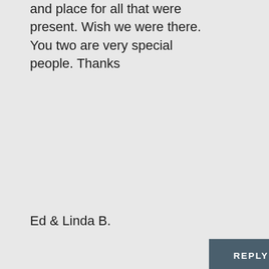and place for all that were present. Wish we were there. You two are very special people. Thanks
Ed & Linda B.
REPLY
David.B
on April 4, 2017 at 4:54 am
Glad you enjoyed it. :)